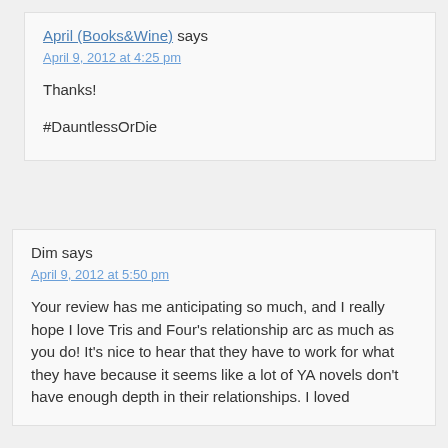April (Books&Wine) says
April 9, 2012 at 4:25 pm
Thanks!
#DauntlessOrDie
Dim says
April 9, 2012 at 5:50 pm
Your review has me anticipating so much, and I really hope I love Tris and Four's relationship arc as much as you do! It's nice to hear that they have to work for what they have because it seems like a lot of YA novels don't have enough depth in their relationships. I loved